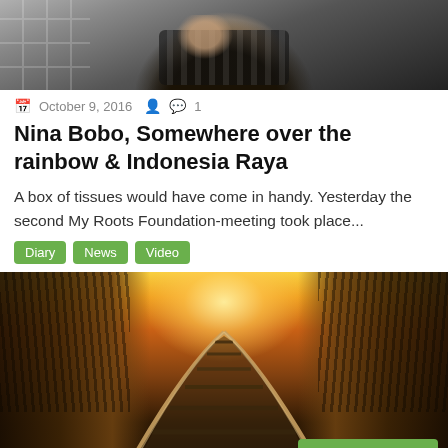[Figure (photo): Partial photo of a person wearing a black jacket with ring on finger, cropped at top]
October 9, 2016  1
Nina Bobo, Somewhere over the rainbow & Indonesia Raya
A box of tissues would have come in handy. Yesterday the second My Roots Foundation-meeting took place...
Diary
News
Video
[Figure (photo): Railway tracks receding into the distance with bright golden sunset light, trees on both sides]
Follow this Blog